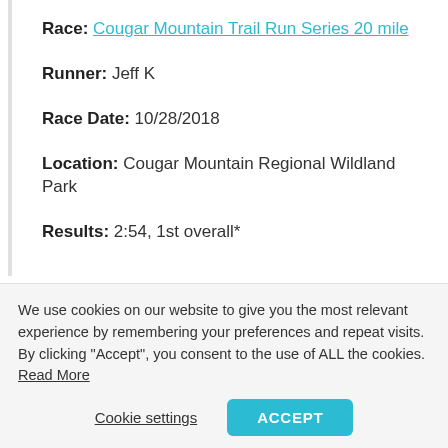Race: Cougar Mountain Trail Run Series 20 mile
Runner: Jeff K
Race Date: 10/28/2018
Location: Cougar Mountain Regional Wildland Park
Results: 2:54, 1st overall*
We use cookies on our website to give you the most relevant experience by remembering your preferences and repeat visits. By clicking “Accept”, you consent to the use of ALL the cookies. Read More
Cookie settings
ACCEPT